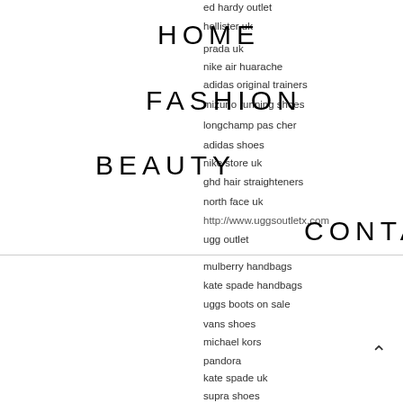ed hardy outlet
hollister uk
HOME
ABOUT
prada uk
nike air huarache
adidas original trainers
FASHION
FOOD
mizuno running shoes
longchamp pas cher
adidas shoes
BEAUTY
LIFESTYLE
nike store uk
ghd hair straighteners
north face uk
http://www.uggsoutletx.com
CONTACT
ugg outlet
mulberry handbags
kate spade handbags
uggs boots on sale
vans shoes
michael kors
pandora
kate spade uk
supra shoes
louis vuitton pas cher
air max